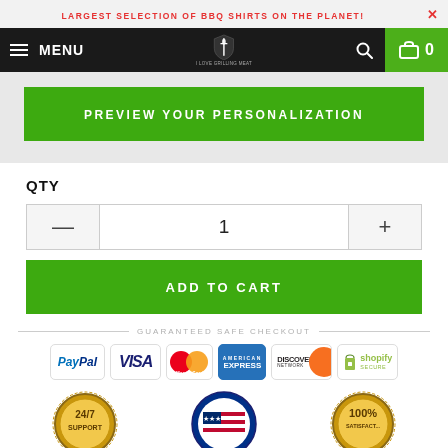LARGEST SELECTION OF BBQ SHIRTS ON THE PLANET!
MENU | I LOVE GRILLING MEAT | 0
PREVIEW YOUR PERSONALIZATION
QTY
1
ADD TO CART
GUARANTEED SAFE CHECKOUT
[Figure (infographic): Payment method icons: PayPal, Visa, MasterCard, American Express, Discover Network, Shopify Secure]
[Figure (infographic): Trust badges: 24/7 Support (gold badge), American Flag badge, 100% Satisfaction Guarantee (gold badge)]